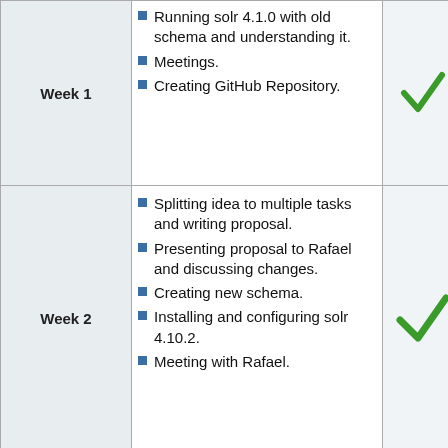| Week | Tasks | Done |
| --- | --- | --- |
| Week 1 | Running solr 4.1.0 with old schema and understanding it. / Meetings. / Creating GitHub Repository. | ✓ |
| Week 2 | Splitting idea to multiple tasks and writing proposal. / Presenting proposal to Rafael and discussing changes. / Creating new schema. / Installing and configuring solr 4.10.2. / Meeting with Rafael. | ✓ |
|  | Getting feedback on... |  |